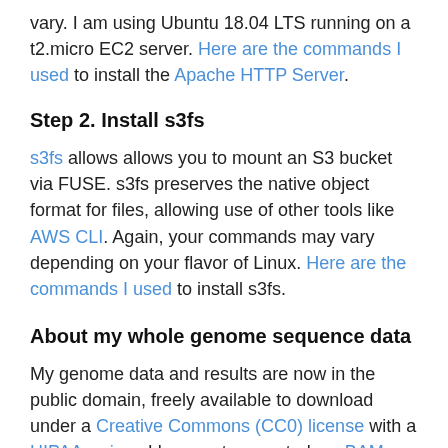vary. I am using Ubuntu 18.04 LTS running on a t2.micro EC2 server. Here are the commands I used to install the Apache HTTP Server.
Step 2. Install s3fs
s3fs allows allows you to mount an S3 bucket via FUSE. s3fs preserves the native object format for files, allowing use of other tools like AWS CLI. Again, your commands may vary depending on your flavor of Linux. Here are the commands I used to install s3fs.
About my whole genome sequence data
My genome data and results are now in the public domain, freely available to download under a Creative Commons (CC0) license with a HIPAA waiver. I have not converted my BAM files to CRAM yet, so you may want to read